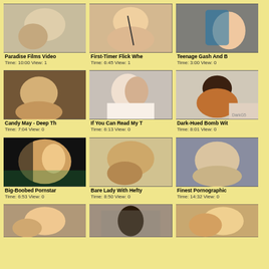[Figure (photo): Video thumbnail 1]
Paradise Films Video
Time: 10:00 View: 1
[Figure (photo): Video thumbnail 2]
First-Timer Flick Whe
Time: 6:45 View: 1
[Figure (photo): Video thumbnail 3]
Teenage Gash And B
Time: 3:00 View: 0
[Figure (photo): Video thumbnail 4]
Candy May - Deep Th
Time: 7:04 View: 0
[Figure (photo): Video thumbnail 5]
If You Can Read My T
Time: 6:13 View: 0
[Figure (photo): Video thumbnail 6]
Dark-Hued Bomb Wit
Time: 8:01 View: 0
[Figure (photo): Video thumbnail 7]
Big-Boobed Pornstar
Time: 6:53 View: 0
[Figure (photo): Video thumbnail 8]
Bare Lady With Hefty
Time: 8:50 View: 0
[Figure (photo): Video thumbnail 9]
Finest Pornographic
Time: 14:32 View: 0
[Figure (photo): Video thumbnail 10 (partial)]
[Figure (photo): Video thumbnail 11 (partial)]
[Figure (photo): Video thumbnail 12 (partial)]